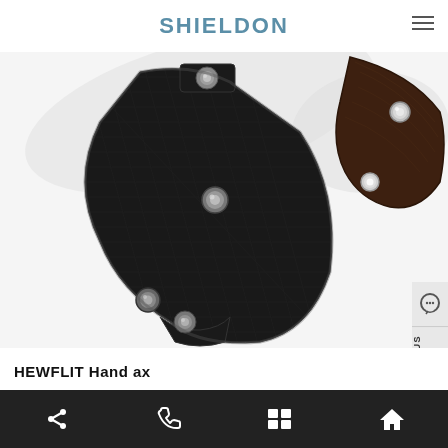SHIELDON
[Figure (photo): Photo of a black nylon/fabric axe sheath with metal snaps/rivets for a hand axe, partially overlapping with a view of a dark wood handle of a blade in the upper right corner. White background.]
HEWFLIT Hand ax
Navigation bar with share, phone, list, and home icons